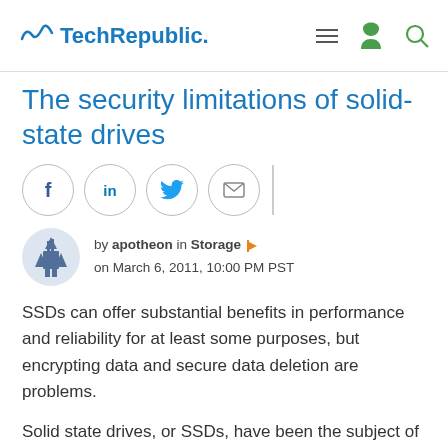TechRepublic
The security limitations of solid-state drives
[Figure (other): Social sharing buttons: Facebook, LinkedIn, Twitter, Email]
by apotheon in Storage
on March 6, 2011, 10:00 PM PST
SSDs can offer substantial benefits in performance and reliability for at least some purposes, but encrypting data and secure data deletion are problems.
Solid state drives, or SSDs, have been the subject of